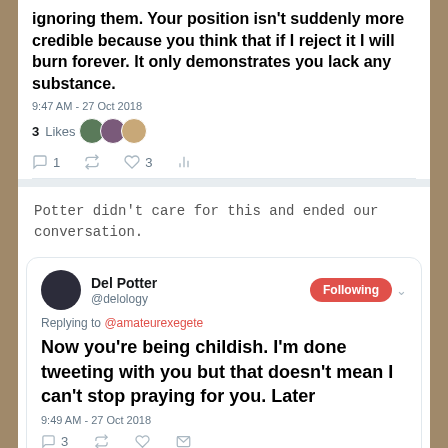ignoring them. Your position isn't suddenly more credible because you think that if I reject it I will burn forever. It only demonstrates you lack any substance.
9:47 AM - 27 Oct 2018
3 Likes
1   3
Potter didn't care for this and ended our conversation.
Del Potter @delology
Replying to @amateurexegete
Now you're being childish. I'm done tweeting with you but that doesn't mean I can't stop praying for you. Later
9:49 AM - 27 Oct 2018
3